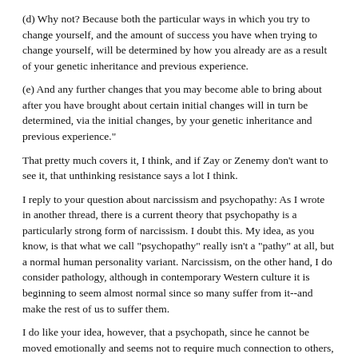(d) Why not? Because both the particular ways in which you try to change yourself, and the amount of success you have when trying to change yourself, will be determined by how you already are as a result of your genetic inheritance and previous experience.
(e) And any further changes that you may become able to bring about after you have brought about certain initial changes will in turn be determined, via the initial changes, by your genetic inheritance and previous experience."
That pretty much covers it, I think, and if Zay or Zenemy don't want to see it, that unthinking resistance says a lot I think.
I reply to your question about narcissism and psychopathy: As I wrote in another thread, there is a current theory that psychopathy is a particularly strong form of narcissism. I doubt this. My idea, as you know, is that what we call "psychopathy" really isn't a "pathy" at all, but a normal human personality variant. Narcissism, on the other hand, I do consider pathology, although in contemporary Western culture it is beginning to seem almost normal since so many suffer from it--and make the rest of us to suffer them.
I do like your idea, however, that a psychopath, since he cannot be moved emotionally and seems not to require much connection to others, might be more easily lost in narcissism, and have no road back from it, than a so-called "normal." That may be. Recent posts in this thread seem to back up your idea.
Daniel, I am sorry that the original idea of the thread seems to have been lost. As Hexi said, it was just getting good (although I don't think he meant it in the way that I do). Perhaps you would like to start a new one on morality in one form or another.